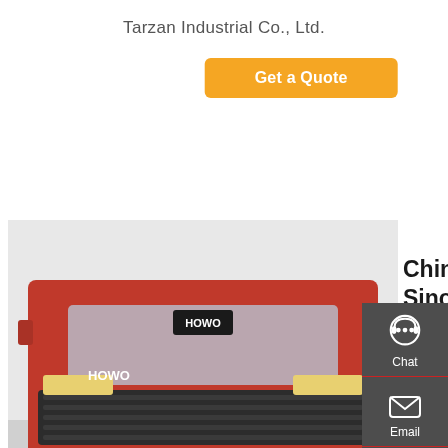Tarzan Industrial Co., Ltd.
Get a Quote
[Figure (photo): Front view of a red Sinotruk HOWO heavy duty truck cab]
China Heavy Duty Truck Sinotruk HOWO 6X4 Heavy Truck New And Used Tractor Truck - China …
China Heavy Duty Truck Sinotruk HOWO 6X4 Heavy Truck New and Used Tractor Truck, Find details about China Tractor, Tractor Truck from Heavy Duty